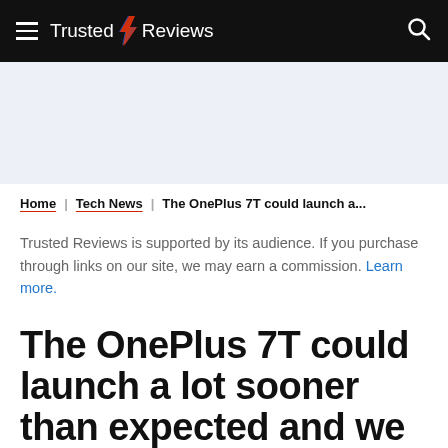Trusted Reviews
[Figure (other): Advertisement / blank area placeholder with light blue-grey background]
Home | Tech News | The OnePlus 7T could launch a...
Trusted Reviews is supported by its audience. If you purchase through links on our site, we may earn a commission. Learn more.
The OnePlus 7T could launch a lot sooner than expected and we can't wait